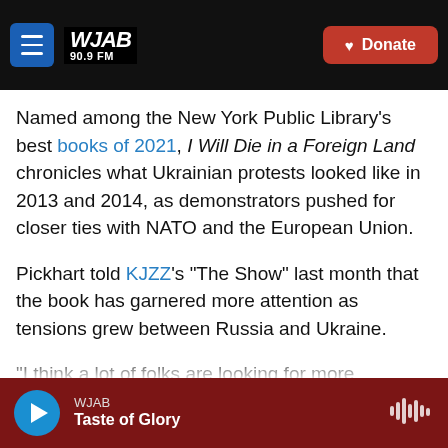WJAB 90.9 FM — Donate
Named among the New York Public Library's best books of 2021, I Will Die in a Foreign Land chronicles what Ukrainian protests looked like in 2013 and 2014, as demonstrators pushed for closer ties with NATO and the European Union.
Pickhart told KJZZ's "The Show" last month that the book has garnered more attention as tensions grew between Russia and Ukraine.
"I think a lot of folks are looking for more information and to sort of understand the conflict in a way that's sort of digestible, essentially just trying
WJAB — Taste of Glory